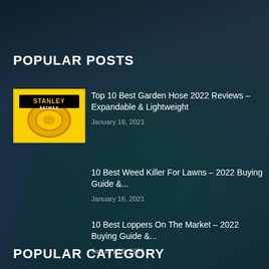POPULAR POSTS
[Figure (photo): Stanley FatMax yellow garden hose product image on white/yellow background]
Top 10 Best Garden Hose 2022 Reviews – Expandable & Lightweight
January 16, 2021
10 Best Weed Killer For Lawns – 2022 Buying Guide &...
January 16, 2021
10 Best Loppers On The Market – 2022 Buying Guide &...
January 16, 2021
POPULAR CATEGORY